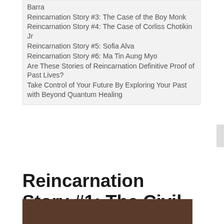Barra
Reincarnation Story #3: The Case of the Boy Monk
Reincarnation Story #4: The Case of Corliss Chotikin Jr
Reincarnation Story #5: Sofia Alva
Reincarnation Story #6: Ma Tin Aung Myo
Are These Stories of Reincarnation Definitive Proof of Past Lives?
Take Control of Your Future By Exploring Your Past with Beyond Quantum Healing
Reincarnation Story #1: The Civil War General
[Figure (photo): Partial photo strip at the bottom of the page, dark brownish tones]